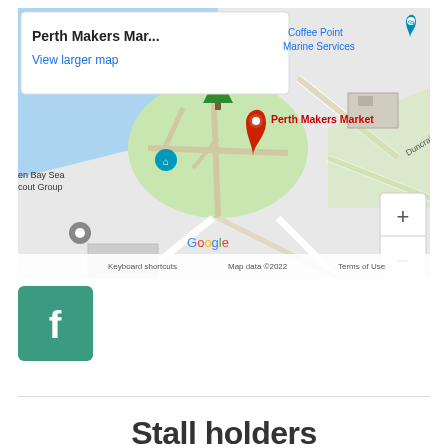[Figure (map): Google Maps screenshot showing Perth Makers Market location with a red pin. Popup tooltip reads 'Perth Makers Mar...' with 'View larger map' link. Map shows Coffee Point Marine Services, Green Bay Sea Scout Group markers, Duncraig Rd label, zoom controls (+/-), Google branding, and footer text: Keyboard shortcuts | Map data ©2022 | Terms of Use]
[Figure (logo): Facebook logo button - teal/green square with white 'f' letter icon]
Stall holders